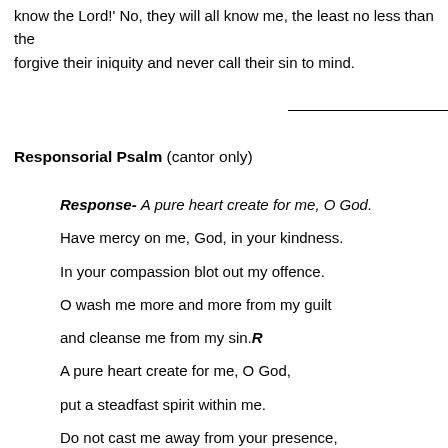know the Lord!' No, they will all know me, the least no less than the greatest, for I will forgive their iniquity and never call their sin to mind.
Responsorial Psalm (cantor only)
Response- A pure heart create for me, O God.
Have mercy on me, God, in your kindness.
In your compassion blot out my offence.
O wash me more and more from my guilt
and cleanse me from my sin.R
A pure heart create for me, O God,
put a steadfast spirit within me.
Do not cast me away from your presence,